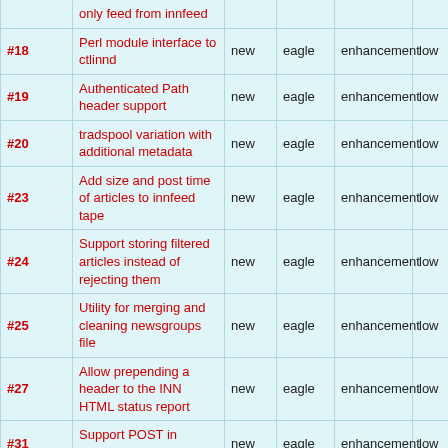| ID | Description | Status | Milestone | Type | Priority |
| --- | --- | --- | --- | --- | --- |
|  | only feed from innfeed |  |  |  |  |
| #18 | Perl module interface to ctlinnd | new | eagle | enhancement | low |
| #19 | Authenticated Path header support | new | eagle | enhancement | low |
| #20 | tradspool variation with additional metadata | new | eagle | enhancement | low |
| #23 | Add size and post time of articles to innfeed tape | new | eagle | enhancement | low |
| #24 | Support storing filtered articles instead of rejecting them | new | eagle | enhancement | low |
| #25 | Utility for merging and cleaning newsgroups file | new | eagle | enhancement | low |
| #27 | Allow prepending a header to the INN HTML status report | new | eagle | enhancement | low |
| #31 | Support POST in innxmit | new | eagle | enhancement | low |
| #32 | Support path determination for | new | eagle | enhancement | low |